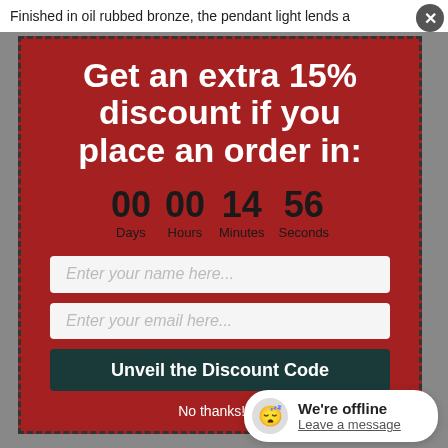Finished in oil rubbed bronze, the pendant light lends a
Get an extra 15% discount if you place an order in:
00 Days  00 Hours  14 Minutes  56 Seconds
Enter your name here...
Enter your email here...
Unveil the Discount Code
No thanks! I'll
We're offline
Leave a message